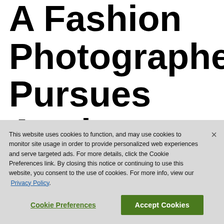A Fashion Photographer Pursues Arctic Wolves. What Could Possibly G…
This website uses cookies to function, and may use cookies to monitor site usage in order to provide personalized web experiences and serve targeted ads. For more details, click the Cookie Preferences link. By closing this notice or continuing to use this website, you consent to the use of cookies. For more info, view our Privacy Policy.
Cookie Preferences | Accept Cookies